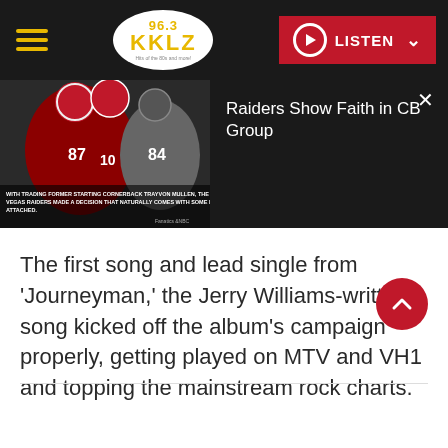96.3 KKLZ | LISTEN
[Figure (screenshot): Football players action image with caption: WITH TRADING FORMER STARTING CORNERBACK TRAYVON MULLEN, THE LAS VEGAS RAIDERS MADE A DECISION THAT NATURALLY COMES WITH SOME RISK ATTACHED.]
Raiders Show Faith in CB Group
The first song and lead single from 'Journeyman,' the Jerry Williams-written song kicked off the album's campaign properly, getting played on MTV and VH1 and topping the mainstream rock charts.